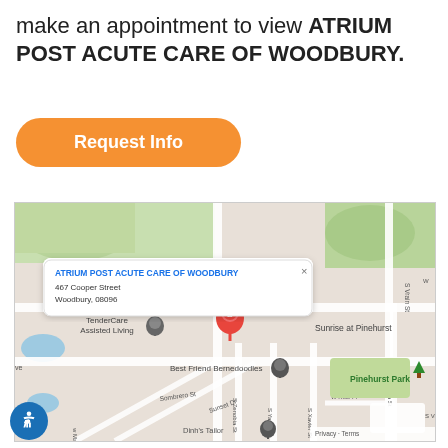make an appointment to view ATRIUM POST ACUTE CARE OF WOODBURY.
Request Info
[Figure (map): Google Maps showing location of ATRIUM POST ACUTE CARE OF WOODBURY at 467 Cooper Street, Woodbury, 08096. Nearby landmarks include TenderCare Assisted Living, Sunrise at Pinehurst, Best Friend Bernedoodles, Pinehurst Park, and streets such as Sombrero St, Sunset Dr, S Zenobia St, S Yates St, S Xavier St, W Rice Pl, S Unica St.]
ATRIUM POST ACUTE CARE OF WOODBURY
467 Cooper Street
Woodbury, 08096